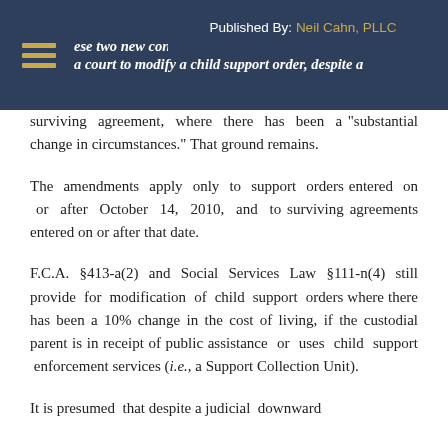...ese two new conditions... relevant the ability of a court to modify a child support order, despite a | Published By: Neil Cahn, PLLC
surviving agreement, where there has been a "substantial change in circumstances." That ground remains.
The amendments apply only to support orders entered on or after October 14, 2010, and to surviving agreements entered on or after that date.
F.C.A. §413-a(2) and Social Services Law §111-n(4) still provide for modification of child support orders where there has been a 10% change in the cost of living, if the custodial parent is in receipt of public assistance or uses child support enforcement services (i.e., a Support Collection Unit).
It is presumed that despite a judicial downward...